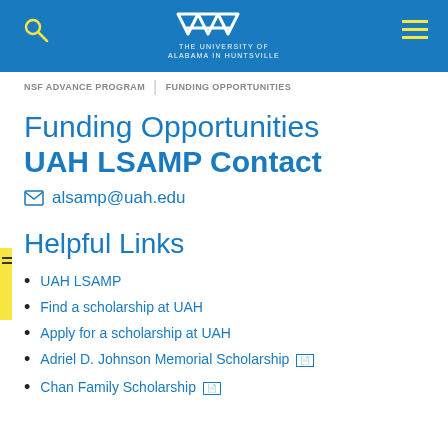THE UNIVERSITY OF ALABAMA IN HUNTSVILLE
NSF ADVANCE PROGRAM / FUNDING OPPORTUNITIES
Funding Opportunities UAH LSAMP Contact
alsamp@uah.edu
Helpful Links
UAH LSAMP
Find a scholarship at UAH
Apply for a scholarship at UAH
Adriel D. Johnson Memorial Scholarship
Chan Family Scholarship